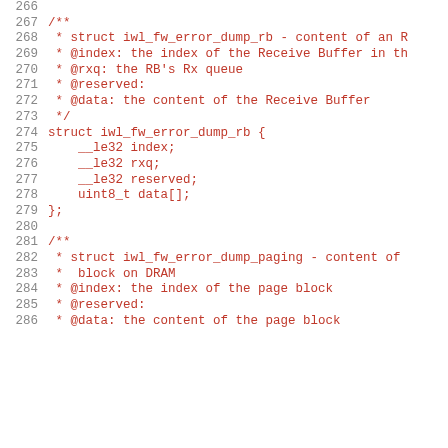266  
267   /**
268   * struct iwl_fw_error_dump_rb - content of an R
269   * @index: the index of the Receive Buffer in th
270   * @rxq: the RB's Rx queue
271   * @reserved:
272   * @data: the content of the Receive Buffer
273   */
274   struct iwl_fw_error_dump_rb {
275       __le32 index;
276       __le32 rxq;
277       __le32 reserved;
278       uint8_t data[];
279   };
280  
281   /**
282   * struct iwl_fw_error_dump_paging - content of
283   *  block on DRAM
284   * @index: the index of the page block
285   * @reserved:
286   * @data: the content of the page block